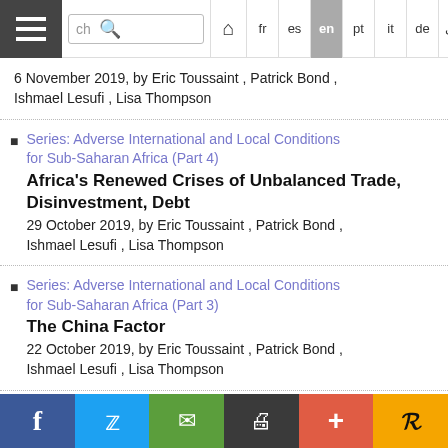Navigation bar with hamburger menu, search box, and language tabs: fr, es, en (active), pt, it, de, Arabic
6 November 2019, by Eric Toussaint , Patrick Bond , Ishmael Lesufi , Lisa Thompson
Series: Adverse International and Local Conditions for Sub-Saharan Africa (Part 4)
Africa's Renewed Crises of Unbalanced Trade, Disinvestment, Debt
29 October 2019, by Eric Toussaint , Patrick Bond , Ishmael Lesufi , Lisa Thompson
Series: Adverse International and Local Conditions for Sub-Saharan Africa (Part 3)
The China Factor
22 October 2019, by Eric Toussaint , Patrick Bond , Ishmael Lesufi , Lisa Thompson
Does BRICS Banking offer an Alternative to the IMF and World Bank? Pessimistic Signals from
Share bar: Facebook, Twitter, Email, Print, Plus, Pocket